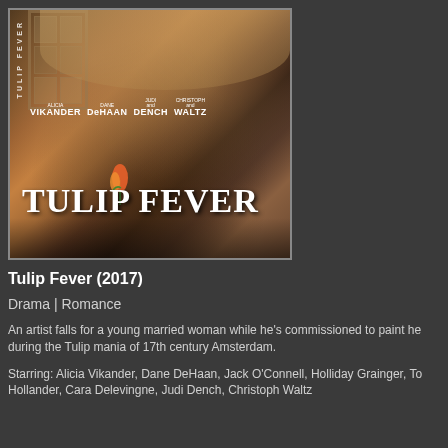[Figure (photo): Movie cover/poster for Tulip Fever (2017) showing two people intimately close with a tulip in the foreground. Cast names listed: Alicia Vikander, Dane DeHaan, Judi Dench and Christoph Waltz. Title 'TULIP FEVER' in large white letters.]
Tulip Fever (2017)
Drama | Romance
An artist falls for a young married woman while he's commissioned to paint her during the Tulip mania of 17th century Amsterdam.
Starring: Alicia Vikander, Dane DeHaan, Jack O'Connell, Holliday Grainger, Tom Hollander, Cara Delevingne, Judi Dench, Christoph Waltz